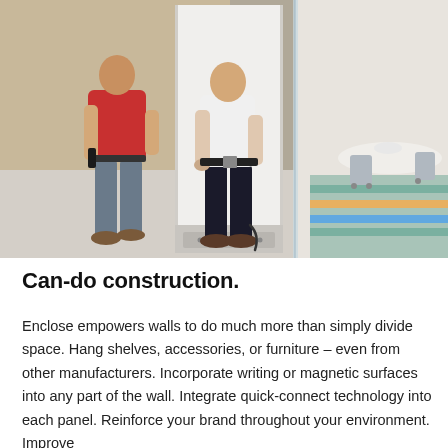[Figure (photo): Two workers installing or moving a large wall panel in an office environment. One worker wears a red shirt and grey pants, the other wears a white shirt and black jeans. The panel is tall and white, with an aluminum frame at the base. On the right side, a glass-walled conference room is visible with white table and chairs on colorful carpet.]
Can-do construction.
Enclose empowers walls to do much more than simply divide space. Hang shelves, accessories, or furniture – even from other manufacturers. Incorporate writing or magnetic surfaces into any part of the wall. Integrate quick-connect technology into each panel. Reinforce your brand throughout your environment. Improve